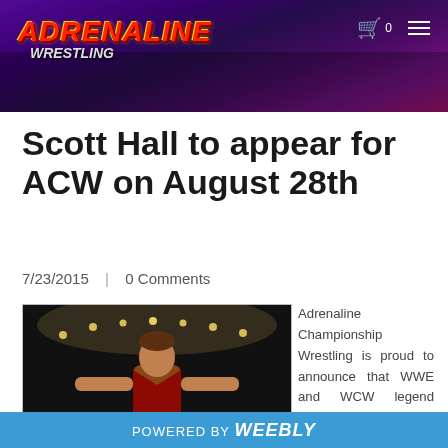[Figure (photo): Adrenaline Wrestling website header banner with crowd background and logo]
Scott Hall to appear for ACW on August 28th
7/23/2015 | 0 Comments
[Figure (photo): Scott Hall wrestler posing with arms raised in arena]
Adrenaline Championship Wrestling is proud to announce that WWE and WCW legend Scott Hall will appear...
POWERED BY Weebly